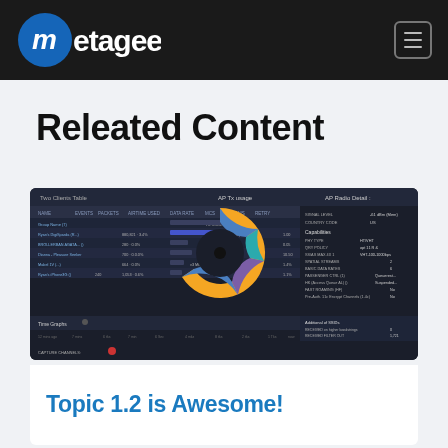[Figure (logo): Metageek logo with blue circle and lowercase 'm' and 'etageek' in white text on dark header bar]
[Figure (other): Hamburger menu icon in rounded rectangle on dark header bar]
Releated Content
[Figure (screenshot): Dark-themed network analysis dashboard (Metageek app) showing a table of clients with columns for name, events, packets, airtime, data rate, MCS, streams, retry; a donut/pie chart with orange, blue, purple, and teal segments; and AP radio details panel on the right side. Time graphs shown at bottom of the dashboard.]
Topic 1.2 is Awesome!